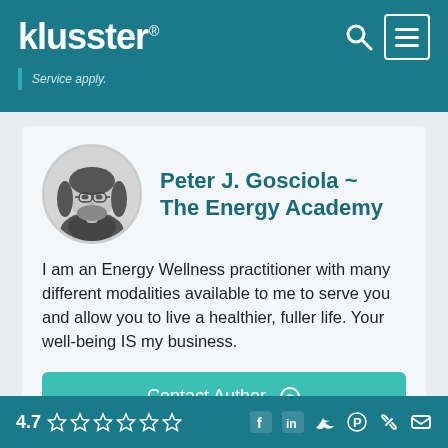klusster® — Service apply.
Peter J. Gosciola ~ The Energy Academy
I am an Energy Wellness practitioner with many different modalities available to me to serve you and allow you to live a healthier, fuller life. Your well-being IS my business.
Contact Author
4.7 ☆☆☆☆☆☆ (social icons: Facebook, LinkedIn, Twitter, Pinterest, Link, Email)